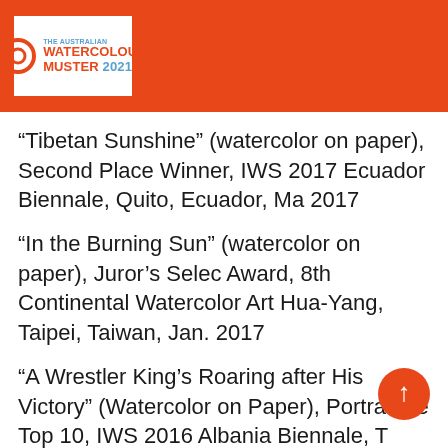THE AUSTRALIAN WATERCOLOUR MUSTER 2021
“Tibetan Sunshine” (watercolor on paper), Second Place Winner, IWS 2017 Ecuador Biennale, Quito, Ecuador, Ma 2017
“In the Burning Sun” (watercolor on paper), Juror’s Selec Award, 8th Continental Watercolor Art Hua-Yang, Taipei, Taiwan, Jan. 2017
“A Wrestler King’s Roaring after His Victory” (Watercolor on Paper), Portraiture Top 10, IWS 2016 Albania Biennale, T Albania, Nov. 2016
“A Weathered Face”, Finalist, IWS HK First International Watercolor Biennale,
Hong Kong, China, 2016